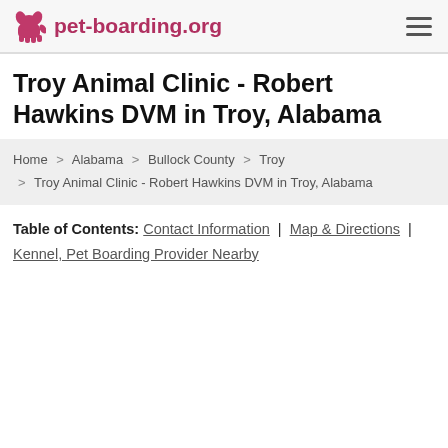pet-boarding.org
Troy Animal Clinic - Robert Hawkins DVM in Troy, Alabama
Home > Alabama > Bullock County > Troy > Troy Animal Clinic - Robert Hawkins DVM in Troy, Alabama
Table of Contents: Contact Information | Map & Directions | Kennel, Pet Boarding Provider Nearby